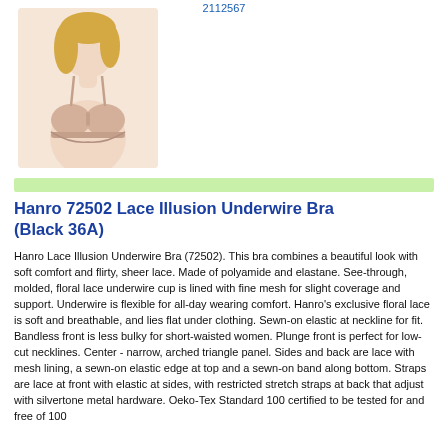2112567
[Figure (photo): A woman wearing a nude/beige underwire bra, shown from shoulders to waist, facing slightly to the side. The bra has molded cups and thin straps.]
Hanro 72502 Lace Illusion Underwire Bra (Black 36A)
Hanro Lace Illusion Underwire Bra (72502). This bra combines a beautiful look with soft comfort and flirty, sheer lace. Made of polyamide and elastane. See-through, molded, floral lace underwire cup is lined with fine mesh for slight coverage and support. Underwire is flexible for all-day wearing comfort. Hanro's exclusive floral lace is soft and breathable, and lies flat under clothing. Sewn-on elastic at neckline for fit. Bandless front is less bulky for short-waisted women. Plunge front is perfect for low-cut necklines. Center - narrow, arched triangle panel. Sides and back are lace with mesh lining, a sewn-on elastic edge at top and a sewn-on band along bottom. Straps are lace at front with elastic at sides, with restricted stretch straps at back that adjust with silvertone metal hardware. Oeko-Tex Standard 100 certified to be tested for and free of 100